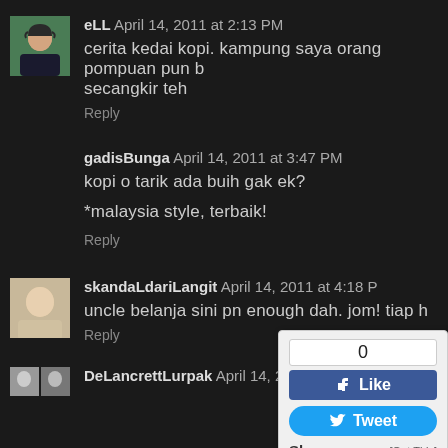[Figure (photo): Avatar photo of eLL, woman in hijab with green background]
eLL April 14, 2011 at 2:13 PM
cerita kedai kopi. kampung saya orang pompuan pun b secangkir teh
Reply
gadisBunga April 14, 2011 at 3:47 PM
kopi o tarik ada buih gak ek?
*malaysia style, terbaik!
Reply
[Figure (screenshot): Facebook Like widget showing count 0, Like button, Tweet button, Share link, [Get This]]
[Figure (photo): Avatar photo of skandaLdariLangit]
skandaLdariLangit April 14, 2011 at 4:18 P
uncle belanja sini pn enough dah. jom! tiap h
Reply
[Figure (photo): Avatar photo of DeLancrettLurpak]
DeLancrettLurpak April 14, 2011 at 5:12 PM